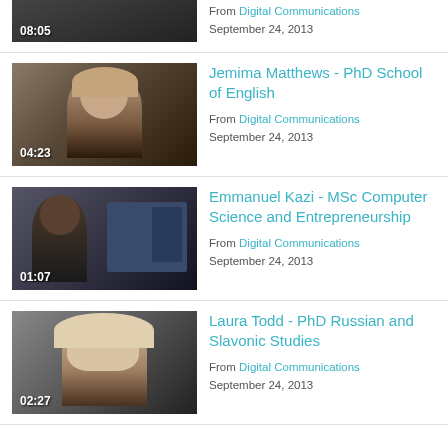[Figure (screenshot): Partial video thumbnail at top showing timestamp 08:05 with From Digital Communications and September 24, 2013]
From Digital Communications
September 24, 2013
[Figure (photo): Video thumbnail of Jemima Matthews, a woman with straight hair, duration 04:23]
Jemima Matthews - PhD School of English
From Digital Communications
September 24, 2013
[Figure (photo): Video thumbnail of Emmanuel Kazi, a man in a computer lab setting, duration 01:07]
Emmanuel Kazi - MSc Computer Science and Entrepreneurship
From Digital Communications
September 24, 2013
[Figure (photo): Video thumbnail of Laura Todd, a woman with blonde hair, duration 02:27]
Laura Todd - PhD Russian and Slavonic Studies
From Digital Communications
September 24, 2013